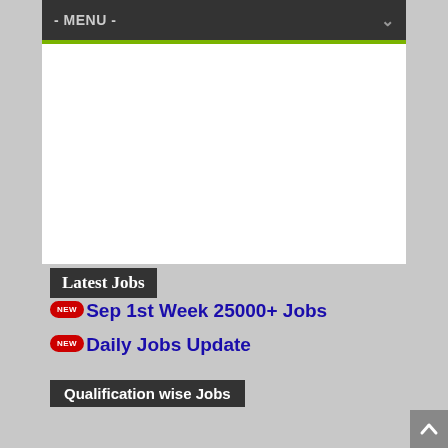- MENU -
[Figure (other): Advertisement/banner area (blank white space)]
Latest Jobs
Sep 1st Week 25000+ Jobs
Daily Jobs Update
Qualification wise Jobs
| 10th/ 12th Jobs | Graduate Jobs |
| ITI Pass Jobs | Post Graduate Jobs |
| B.Tech Jobs | M.Tech Jobs |
| MBA Jobs | MCA Jobs |